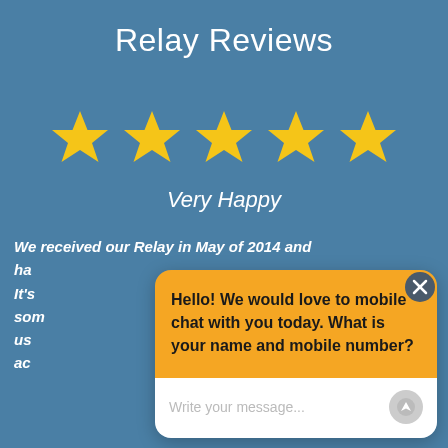Relay Reviews
[Figure (infographic): Five gold star rating icons in a row]
Very Happy
We received our Relay in May of 2014 and ha... It's... som... us... ac...
[Figure (screenshot): Chat widget overlay with orange header containing message 'Hello! We would love to mobile chat with you today. What is your name and mobile number?' and white input area with placeholder 'Write your message...' and a send button. There is a close (X) button in the top-right corner.]